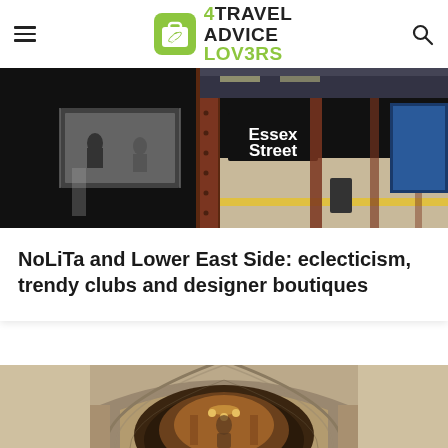[Figure (logo): 4Travel Advice Lovers logo with green suitcase icon]
[Figure (photo): NYC subway platform at Essex Street station with red/brown steel columns and yellow safety stripe]
NoLiTa and Lower East Side: eclecticism, trendy clubs and designer boutiques
[Figure (photo): Interior of ornate arched architectural space with warm amber lighting and decorative stonework]